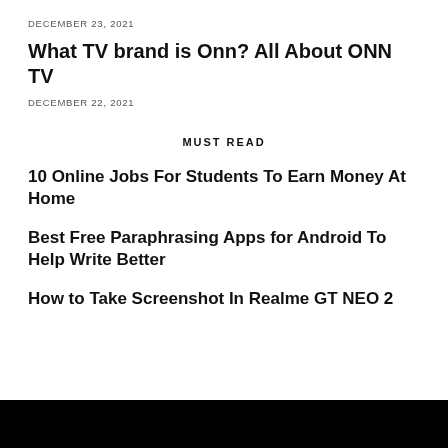DECEMBER 23, 2021
What TV brand is Onn? All About ONN TV
DECEMBER 22, 2021
MUST READ
10 Online Jobs For Students To Earn Money At Home
Best Free Paraphrasing Apps for Android To Help Write Better
How to Take Screenshot In Realme GT NEO 2